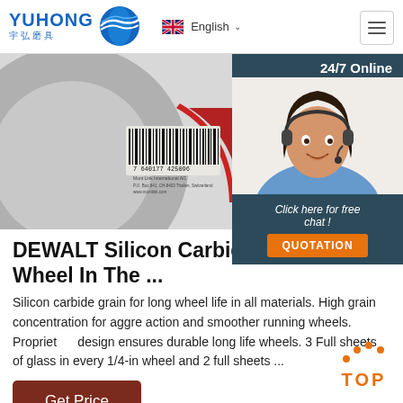[Figure (logo): Yuhong 宇弘磨具 company logo with blue wave icon]
English
[Figure (photo): Close-up of a grinding wheel showing barcode label with Mont Link International AG details]
[Figure (photo): 24/7 Online customer service agent with headset, smiling]
DEWALT Silicon Carbide 4.5-In Gr Wheel In The ...
Silicon carbide grain for long wheel life in all materials. High grain concentration for aggre action and smoother running wheels. Proprietary design ensures durable long life wheels. 3 Full sheets of glass in every 1/4-in wheel and 2 full sheets ...
Click here for free chat !
QUOTATION
Get Price
TOP